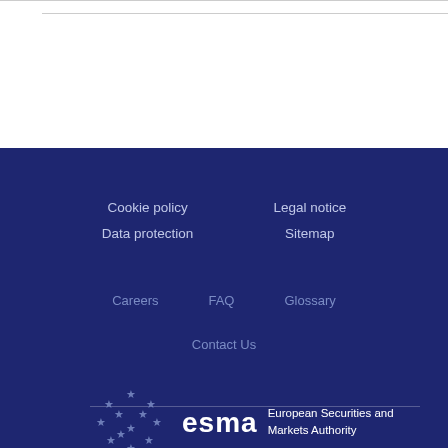Cookie policy | Data protection | Legal notice | Sitemap
Careers | FAQ | Glossary | Contact Us
[Figure (logo): ESMA - European Securities and Markets Authority logo with EU stars]